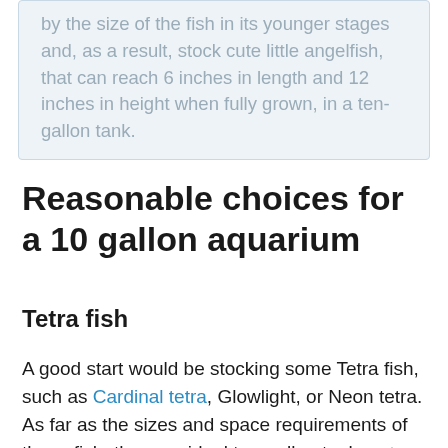by the size of the fish in its younger stages and, as a result, stock cute little angelfish, that can reach 6 inches in length and 12 inches in height when fully grown, in a ten-gallon tank.
Reasonable choices for a 10 gallon aquarium
Tetra fish
A good start would be stocking some Tetra fish, such as Cardinal tetra, Glowlight, or Neon tetra. As far as the sizes and space requirements of these fish, they are ideal ten-gallon tank mates. They are all relatively inactive swimmers, so they don't require much space